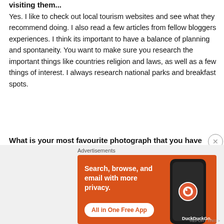visiting them...
Yes. I like to check out local tourism websites and see what they recommend doing. I also read a few articles from fellow bloggers experiences. I think its important to have a balance of planning and spontaneity. You want to make sure you research the important things like countries religion and laws, as well as a few things of interest. I always research national parks and breakfast spots.
What is your most favourite photograph that you have taken during your travels?
[Figure (advertisement): DuckDuckGo advertisement with text 'Search, browse, and email with more privacy. All in One Free App' on an orange background with a phone image showing the DuckDuckGo logo]